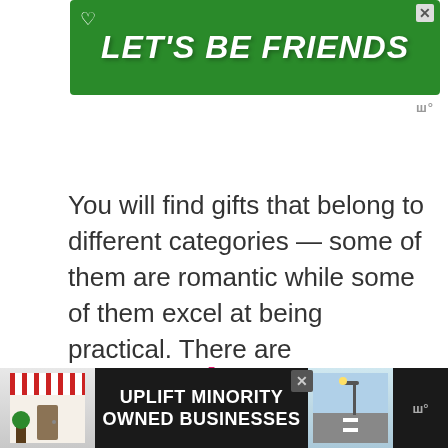[Figure (illustration): Green advertisement banner reading LET'S BE FRIENDS with a dog illustration and heart icon]
You will find gifts that belong to different categories — some of them are romantic while some of them excel at being practical. There are suggestions for coffee lovers and book lovers. I'm confident that you will find something helpful from this list.
1. Pendant Necklace for Guys
[Figure (illustration): Dark bottom advertisement banner reading UPLIFT MINORITY OWNED BUSINESSES with storefront illustrations]